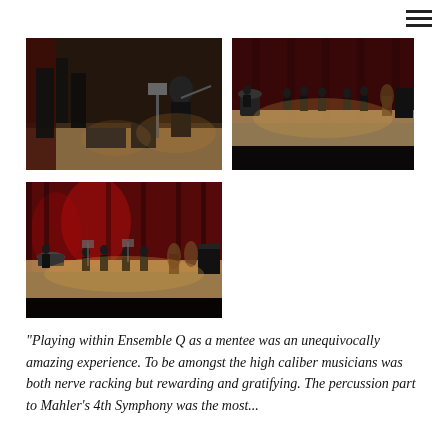[Figure (photo): Concert rehearsal photo: violinist playing in foreground with instruments and equipment on stage, warm brown/red backdrop]
[Figure (photo): Orchestra ensemble on stage seen from distance, red backdrop, musicians with various instruments including piano, timpani]
[Figure (photo): Wide shot of orchestra ensemble on stage with red curtain backdrop, musicians spread across the stage, concert hall lighting]
“Playing within Ensemble Q as a mentee was an unequivocally amazing experience. To be amongst the high caliber musicians was both nerve racking but rewarding and gratifying. The percussion part to Mahler’s 4th Symphony was the most...